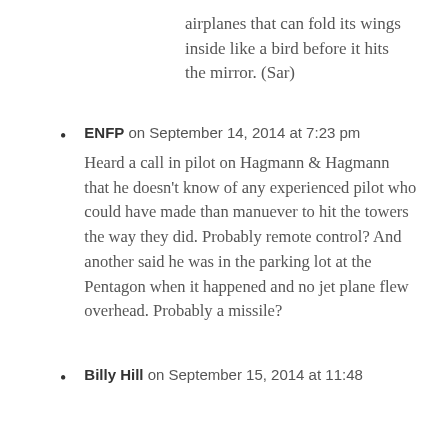airplanes that can fold its wings inside like a bird before it hits the mirror. (Sar)
ENFP on September 14, 2014 at 7:23 pm

Heard a call in pilot on Hagmann & Hagmann that he doesn't know of any experienced pilot who could have made than manuever to hit the towers the way they did. Probably remote control? And another said he was in the parking lot at the Pentagon when it happened and no jet plane flew overhead. Probably a missile?
Billy Hill on September 15, 2014 at 11:48